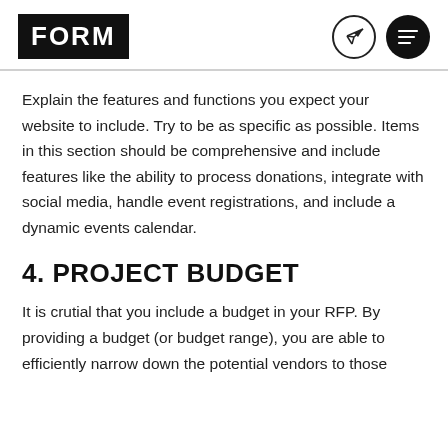FORM
Explain the features and functions you expect your website to include. Try to be as specific as possible. Items in this section should be comprehensive and include features like the ability to process donations, integrate with social media, handle event registrations, and include a dynamic events calendar.
4. PROJECT BUDGET
It is crutial that you include a budget in your RFP. By providing a budget (or budget range), you are able to efficiently narrow down the potential vendors to those